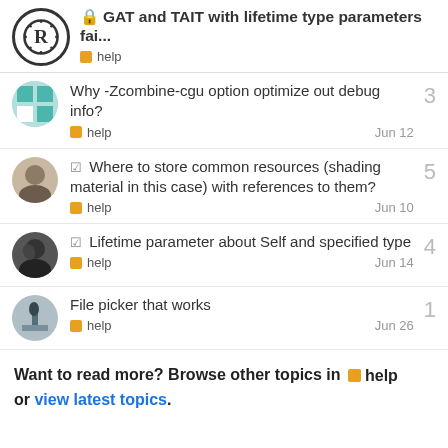GAT and TAIT with lifetime type parameters fai... help
Why -Zcombine-cgu option optimize out debug info? help Jun 12 3
☑ Where to store common resources (shading material in this case) with references to them? help Jun 10 5
☑ Lifetime parameter about Self and specified type help Jun 14 4
File picker that works help Jun 26 1
Want to read more? Browse other topics in ■ help or view latest topics.